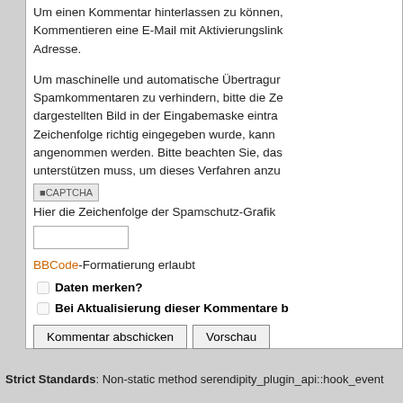Um einen Kommentar hinterlassen zu können, Kommentieren eine E-Mail mit Aktivierungslink Adresse.
Um maschinelle und automatische Übertragung Spamkommentaren zu verhindern, bitte die Ze dargestellten Bild in der Eingabemaske eintra Zeichenfolge richtig eingegeben wurde, kann angenommen werden. Bitte beachten Sie, das unterstützen muss, um dieses Verfahren anzu
[Figure (other): CAPTCHA image placeholder showing text 'CAPTCHA']
Hier die Zeichenfolge der Spamschutz-Grafik
BBCode-Formatierung erlaubt
Daten merken?
Bei Aktualisierung dieser Kommentare b
Strict Standards: Non-static method serendipity_plugin_api::hook_event